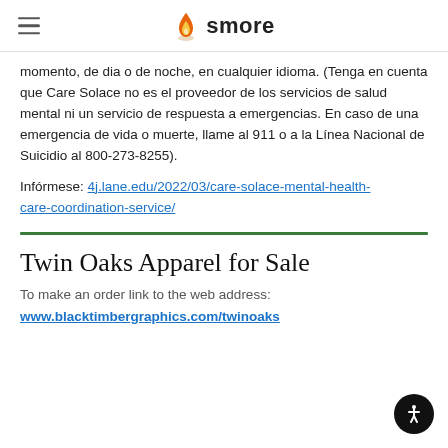smore
momento, de dia o de noche, en cualquier idioma. (Tenga en cuenta que Care Solace no es el proveedor de los servicios de salud mental ni un servicio de respuesta a emergencias. En caso de una emergencia de vida o muerte, llame al 911 o a la Línea Nacional de Suicidio al 800-273-8255).
Infórmese: 4j.lane.edu/2022/03/care-solace-mental-health-care-coordination-service/
Twin Oaks Apparel for Sale
To make an order link to the web address:
www.blacktimbergraphics.com/twinoaks